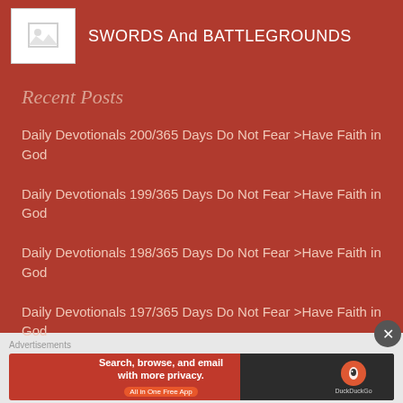[Figure (screenshot): Website screenshot of a blog sidebar showing a placeholder image, site title 'SWORDS And BATTLEGROUNDS', recent posts section with links to daily devotionals, and a DuckDuckGo advertisement banner at the bottom.]
SWORDS And BATTLEGROUNDS
Recent Posts
Daily Devotionals 200/365 Days Do Not Fear >Have Faith in God
Daily Devotionals 199/365 Days Do Not Fear >Have Faith in God
Daily Devotionals 198/365 Days Do Not Fear >Have Faith in God
Daily Devotionals 197/365 Days Do Not Fear >Have Faith in God
Advertisements
[Figure (screenshot): DuckDuckGo advertisement banner: 'Search, browse, and email with more privacy. All in One Free App' with DuckDuckGo logo on dark background.]